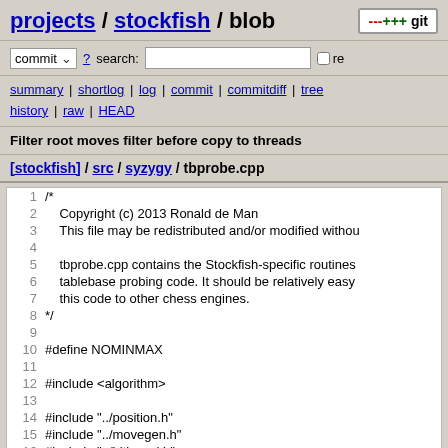projects / stockfish / blob
commit ? search: re
summary | shortlog | log | commit | commitdiff | tree history | raw | HEAD
Filter root moves filter before copy to threads
[stockfish] / src / syzygy / tbprobe.cpp
1 /*
2     Copyright (c) 2013 Ronald de Man
3     This file may be redistributed and/or modified withou
4
5     tbprobe.cpp contains the Stockfish-specific routines
6     tablebase probing code. It should be relatively easy
7     this code to other chess engines.
8 */
9
10 #define NOMINMAX
11
12 #include <algorithm>
13
14 #include "../position.h"
15 #include "../movegen.h"
16 #include "../bitboard.h"
17 #include "../search.h"
18
19 #include "tbprobe.h"